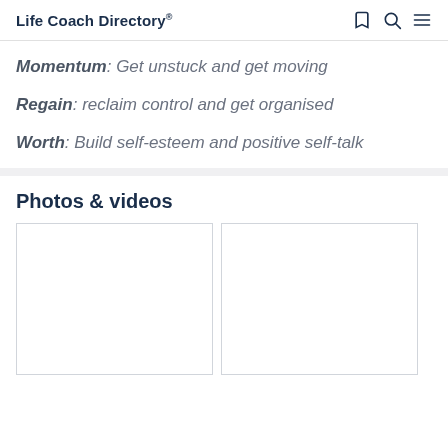Life Coach Directory®
Momentum: Get unstuck and get moving
Regain: reclaim control and get organised
Worth: Build self-esteem and positive self-talk
Photos & videos
[Figure (photo): Two photo/video thumbnail placeholders in a grid layout]
[Figure (photo): Second photo/video thumbnail placeholder]